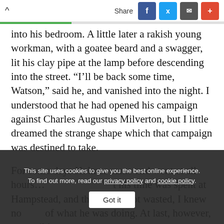^ Share
into his bedroom. A little later a rakish young workman, with a goatee beard and a swagger, lit his clay pipe at the lamp before descending into the street. "I'll be back some time, Watson," said he, and vanished into the night. I understood that he had opened his campaign against Charles Augustus Milverton, but I little dreamed the strange shape which that campaign was destined to take.

For some days Holmes came and went at all hours... his time was spent at Hampstead, and that it was not wasted, I knew no... of what he was doing. At last, however, on a wild, tempestuous
This site uses cookies to give you the best online experience. To find out more, read our privacy policy and cookie policy.